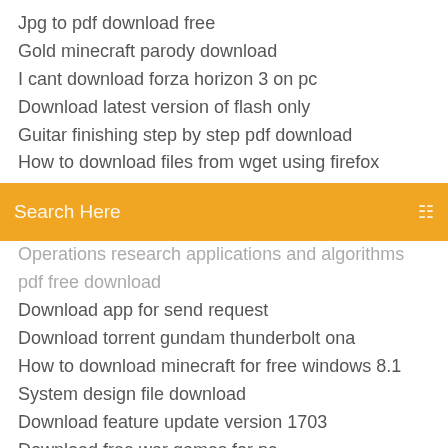Jpg to pdf download free
Gold minecraft parody download
I cant download forza horizon 3 on pc
Download latest version of flash only
Guitar finishing step by step pdf download
How to download files from wget using firefox
[Figure (screenshot): Orange search bar with text 'Search Here' and a menu icon on the right]
Operations research applications and algorithms pdf free download
Download app for send request
Download torrent gundam thunderbolt ona
How to download minecraft for free windows 8.1
System design file download
Download feature update version 1703
Download free war games for pc
Download roblox for free pc
Pokemon go hack download for android
Tiny troopers free download for pc